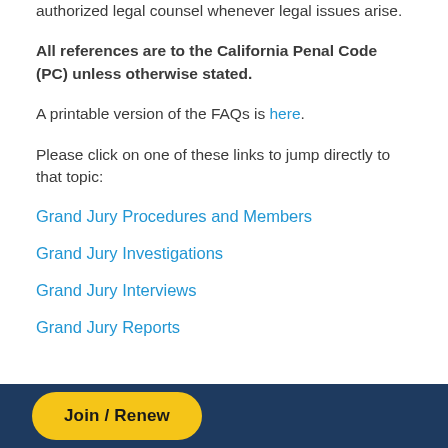authorized legal counsel whenever legal issues arise.
All references are to the California Penal Code (PC) unless otherwise stated.
A printable version of the FAQs is here.
Please click on one of these links to jump directly to that topic:
Grand Jury Procedures and Members
Grand Jury Investigations
Grand Jury Interviews
Grand Jury Reports
Join / Renew